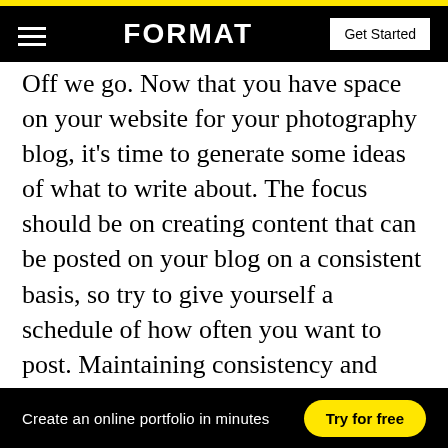FORMAT | Get Started
Off we go. Now that you have space on your website for your photography blog, it's time to generate some ideas of what to write about. The focus should be on creating content that can be posted on your blog on a consistent basis, so try to give yourself a schedule of how often you want to post. Maintaining consistency and fresh content for your website is one of the best ways to drive people to visit your site. As a photographer, it's important to be able to
Create an online portfolio in minutes  Try for free